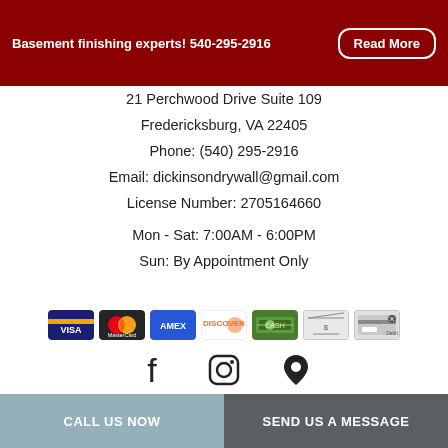Basement finishing experts! 540-295-2916  Read More
21 Perchwood Drive Suite 109
Fredericksburg, VA 22405
Phone: (540) 295-2916
Email: dickinsondrywall@gmail.com
License Number: 2705164660

Mon - Sat: 7:00AM - 6:00PM
Sun: By Appointment Only
[Figure (other): Payment method icons: Visa, MasterCard, American Express, Discover, Cash, Check, Debit]
[Figure (other): Social media icons: Facebook, Instagram, Google Maps location pin]
[Figure (logo): LinkNow logo with registered trademark symbol]
CALL US NOW
SEND US A MESSAGE